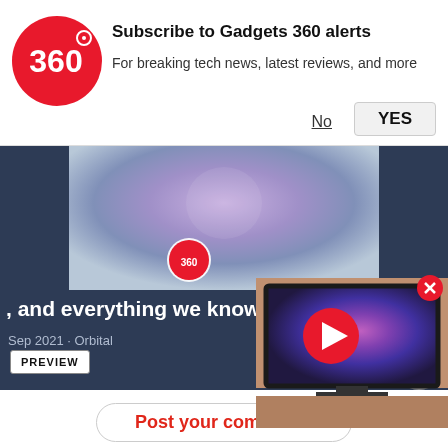[Figure (logo): Gadgets 360 red circular logo]
Subscribe to Gadgets 360 alerts
For breaking tech news, latest reviews, and more
No
YES
[Figure (screenshot): Dark blue video card showing Apple-themed thumbnail with text 'and everything we know' and 'iPhone 1', Sep 2021 · Orbital, with PREVIEW button]
[Figure (screenshot): Floating video preview showing a TV with galaxy wallpaper and a red play button, with a close X button]
Post your comments